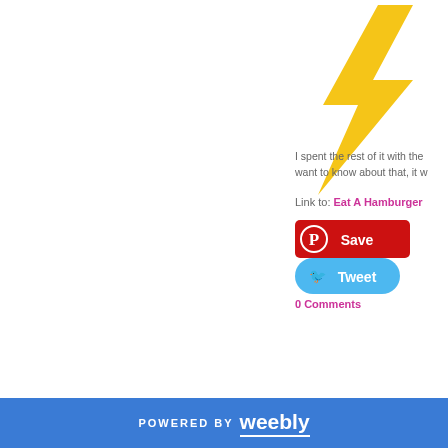[Figure (illustration): Yellow lightning bolt icon in top right area of the page]
I spent the rest of it with the want to know about that, it w
Link to: Eat A Hamburger
[Figure (infographic): Red Pinterest Save button with Pinterest circle P icon]
[Figure (infographic): Blue Twitter Tweet button with bird icon]
0 Comments
POWERED BY weebly